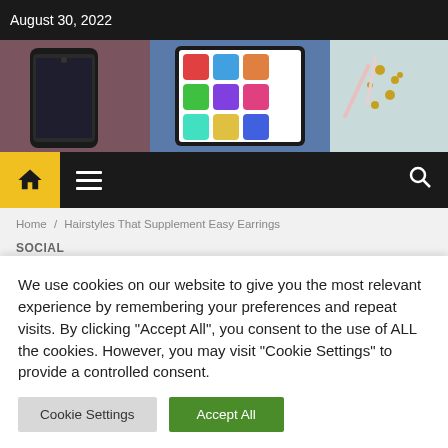August 30, 2022
[Figure (photo): Hero banner image showing smartphones and tablets on colorful backgrounds]
[Figure (screenshot): Website navigation bar with yellow home icon, hamburger menu, and search icon]
Home / Hairstyles That Supplement Easy Earrings
SOCIAL
Hairstyles That
We use cookies on our website to give you the most relevant experience by remembering your preferences and repeat visits. By clicking "Accept All", you consent to the use of ALL the cookies. However, you may visit "Cookie Settings" to provide a controlled consent.
Cookie Settings | Accept All